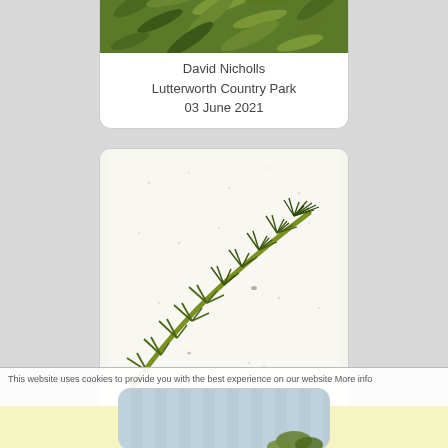[Figure (photo): Partially visible card showing green plant foliage photograph with attribution: David Nicholls, Lutterworth Country Park, 03 June 2021]
David Nicholls
Lutterworth Country Park
03 June 2021
[Figure (photo): Close-up photograph of an aquatic plant stem (likely Myriophyllum or similar water plant) showing whorled leaves on a curved stem, on white background. David Nicholls, Lutterworth Country Park, 03 June 2021]
David Nicholls
Lutterworth Country Park
03 June 2021
This website uses cookies to provide you with the best experience on our website More info
Got it!